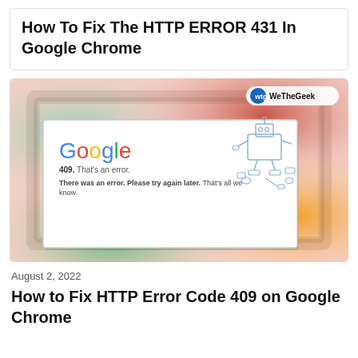How To Fix The HTTP ERROR 431 In Google Chrome
[Figure (screenshot): Screenshot showing a Google error page (409 error) with WeTheGeek watermark. The image has a colorful gradient background (red, green, blue, yellow, pink) with a browser window in the center showing Google logo and error message: '409. That's an error. There was an error. Please try again later. That's all we know.' A robot illustration appears on the right side of the browser window.]
August 2, 2022
How to Fix HTTP Error Code 409 on Google Chrome